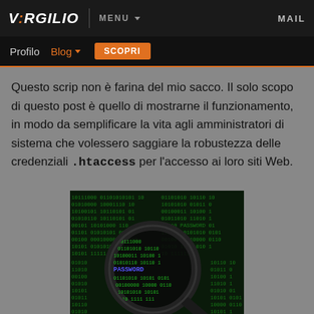V:RGILIO | MENU ▼ | MAIL
Profilo  Blog ∨  SCOPRI
Questo scrip non è farina del mio sacco. Il solo scopo di questo post è quello di mostrarne il funzionamento, in modo da semplificare la vita agli amministratori di sistema che volessero saggiare la robustezza delle credenziali .htaccess per l'accesso ai loro siti Web.
[Figure (photo): A magnifying glass over a dark background showing binary code (0s and 1s) in green, with the word PASSWORD highlighted in blue/purple in the center of the lens.]